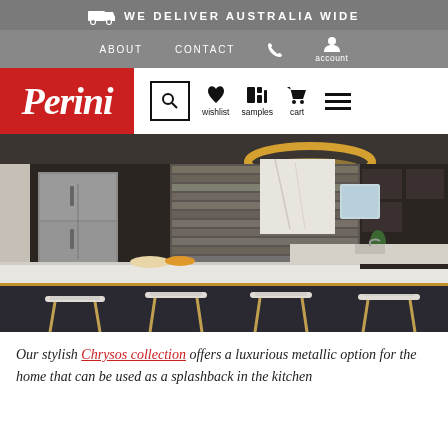WE DELIVER AUSTRALIA WIDE
ABOUT  CONTACT  account
[Figure (logo): Perini logo in white italic script on red background]
[Figure (photo): Modern kitchen with dark cabinetry, marble island benchtop, metallic tile splashback, circular pendant light, and white woven bar stools]
Our stylish Chrysos collection offers a luxurious metallic option for the home that can be used as a splashback in the kitchen